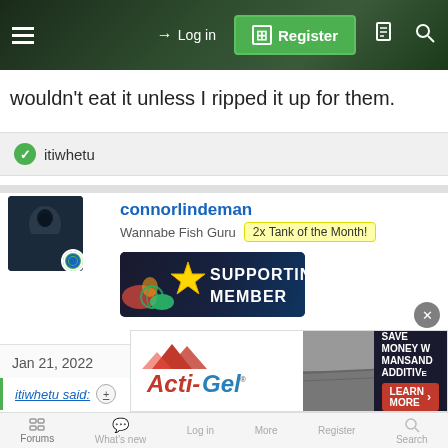Log in | Register
wouldn't eat it unless I ripped it up for them.
itiwhetu
connorlindeman
Wannabe Fish Guru  2x Tank of the Month!
[Figure (illustration): Supporting Member badge with star icon and colorful fish background]
Jan 21, 2022  #5
itiwhetu said:
[Figure (illustration): Acti-Gel advertisement banner with mountains logo and Learn More button]
Forums  What's new  Log in  More  Register  Search